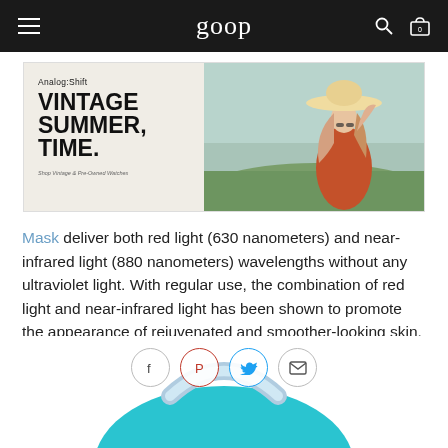goop
[Figure (photo): Analog:Shift advertisement banner with text 'VINTAGE SUMMER, TIME.' on left side and a woman wearing a wide-brim hat in an outdoor summer setting on the right side]
Mask deliver both red light (630 nanometers) and near-infrared light (880 nanometers) wavelengths without any ultraviolet light. With regular use, the combination of red light and near-infrared light has been shown to promote the appearance of rejuvenated and smoother-looking skin.
[Figure (photo): Bottom portion of a teal/light blue LED face mask device, partially visible. Social sharing icons (Facebook, Pinterest, Twitter, Email) are overlaid on the image.]